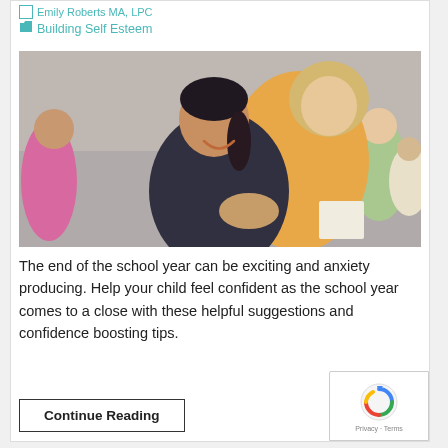Emily Roberts MA, LPC
Building Self Esteem
[Figure (photo): A woman in an orange shirt hugging or comforting a young girl with dark hair, with other children visible in the background]
The end of the school year can be exciting and anxiety producing. Help your child feel confident as the school year comes to a close with these helpful suggestions and confidence boosting tips.
Continue Reading